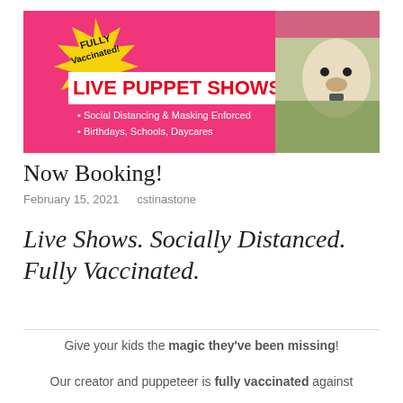[Figure (illustration): Promotional banner for Live Puppet Shows. Hot pink background with yellow starburst and text 'FULLY Vaccinated!' in black, 'LIVE PUPPET SHOWS!' in red on white band. Bullet points: 'Social Distancing & Masking Enforced', 'Birthdays, Schools, Daycares'. Right side shows a puppet figure photo.]
Now Booking!
February 15, 2021   cstinastone
Live Shows. Socially Distanced. Fully Vaccinated.
Give your kids the magic they've been missing!
Our creator and puppeteer is fully vaccinated against